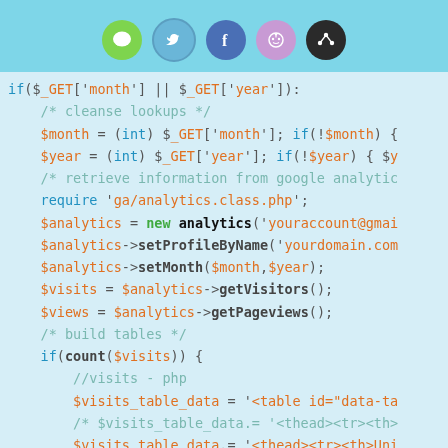[Figure (screenshot): Social sharing icons: comment (green), Twitter (blue), Facebook (blue), Reddit (purple), and one dark icon, displayed in a cyan/teal top bar]
/* submission */
if($_GET['month'] || $_GET['year']):
    /* cleanse lookups */
    $month = (int) $_GET['month']; if(!$month) {
    $year = (int) $_GET['year']; if(!$year) { $y
    /* retrieve information from google analytic
    require 'ga/analytics.class.php';
    $analytics = new analytics('youraccount@gmai
    $analytics->setProfileByName('yourdomain.com
    $analytics->setMonth($month,$year);
    $visits = $analytics->getVisitors();
    $views = $analytics->getPageviews();
    /* build tables */
    if(count($visits)) {
        //visits - php
        $visits_table_data = '<table id="data-ta
        /* $visits_table_data.= '<thead><tr><th>
        $visits_table_data.= '<thead><tr><th>Uni
        foreach($visits as $day=>$visit) {
            /*